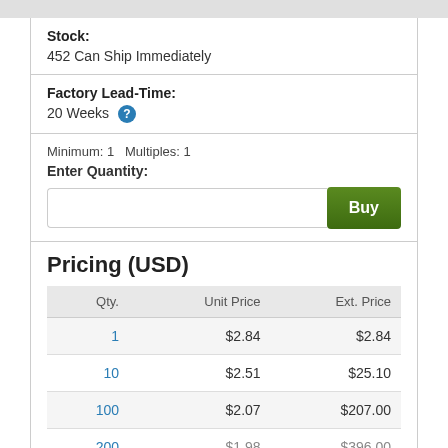Stock:
452 Can Ship Immediately
Factory Lead-Time:
20 Weeks
Minimum: 1   Multiples: 1
Enter Quantity:
Pricing (USD)
| Qty. | Unit Price | Ext. Price |
| --- | --- | --- |
| 1 | $2.84 | $2.84 |
| 10 | $2.51 | $25.10 |
| 100 | $2.07 | $207.00 |
| 200 | $1.98 | $396.00 |